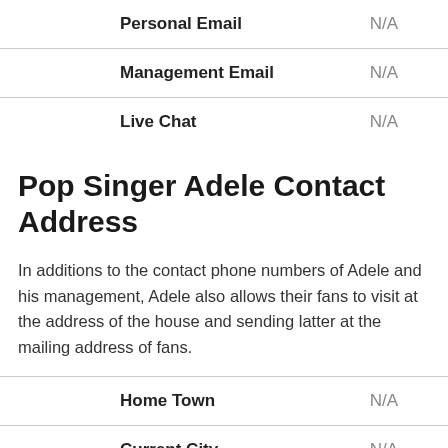| Label | Value |
| --- | --- |
| Personal Email | N/A |
| Management Email | N/A |
| Live Chat | N/A |
Pop Singer Adele Contact Address
In additions to the contact phone numbers of Adele and his management, Adele also allows their fans to visit at the address of the house and sending latter at the mailing address of fans.
| Label | Value |
| --- | --- |
| Home Town | N/A |
| Current City | N/A |
| Residence Address | N/A |